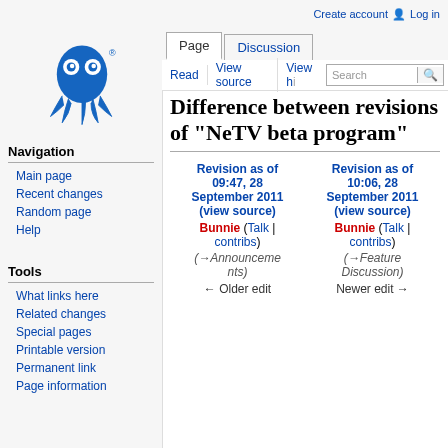Create account  Log in
[Figure (logo): Blue octopus/squid logo with googly eyes and tentacles, with registered trademark symbol]
Page | Discussion | Read | View source | View history | Search
Difference between revisions of "NeTV beta program"
Navigation
Main page
Recent changes
Random page
Help
Tools
What links here
Related changes
Special pages
Printable version
Permanent link
Page information
| Revision as of 09:47, 28 September 2011 (view source) | Revision as of 10:06, 28 September 2011 (view source) |
| --- | --- |
| Bunnie (Talk | contribs) | Bunnie (Talk | contribs) |
| (→Announcements) | (→Feature Discussion) |
| ← Older edit | Newer edit → |